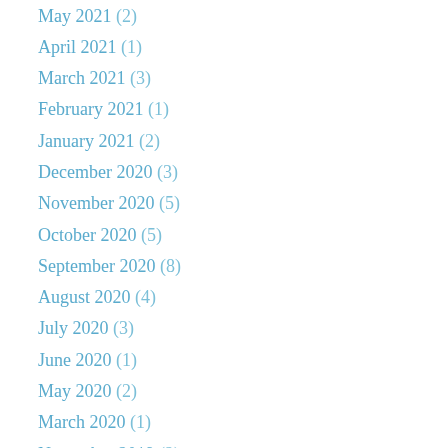May 2021 (2)
April 2021 (1)
March 2021 (3)
February 2021 (1)
January 2021 (2)
December 2020 (3)
November 2020 (5)
October 2020 (5)
September 2020 (8)
August 2020 (4)
July 2020 (3)
June 2020 (1)
May 2020 (2)
March 2020 (1)
November 2019 (2)
October 2019 (2)
September 2019 (1)
August 2019 (4)
July 2019 (4)
June 2019 (1)